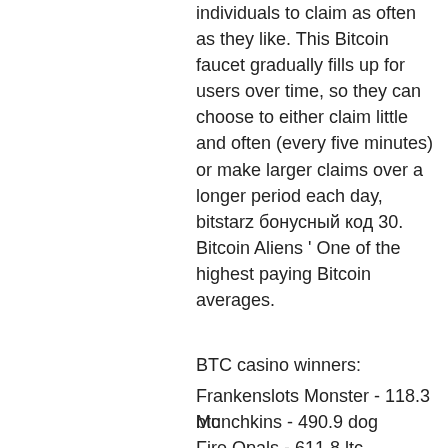individuals to claim as often as they like. This Bitcoin faucet gradually fills up for users over time, so they can choose to either claim little and often (every five minutes) or make larger claims over a longer period each day, bitstarz бонусный код 30. Bitcoin Aliens ' One of the highest paying Bitcoin averages.
BTC casino winners:
Frankenslots Monster - 118.3 btc
Munchkins - 490.9 dog
Fire Opals - 611.8 ltc
Lava Loca - 340.8 ltc
20 Star Party - 465 ltc
World of Warlords - 443.6 dog
Ho Ho Ho - 192 bch
Chinese New Year - 601.4 bch
Jetsetter - 237.8 dog
Once Upon a Time - 589.6 ltc
Beach Party - 118.2 btc
Golden Ticket - 105.6 ltc
King of Slots - 167 bch